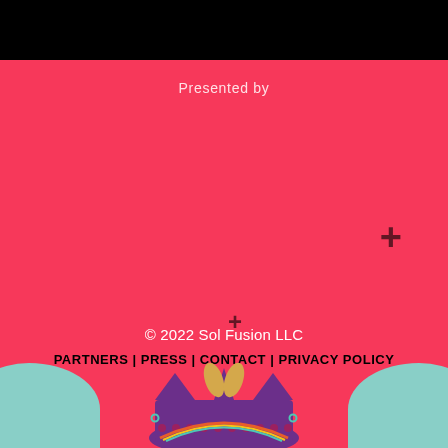Presented by
© 2022 Sol Fusion LLC
PARTNERS | PRESS | CONTACT | PRIVACY POLICY
[Figure (illustration): Decorative crown/apple illustration with teal shapes on left and right, colorful crown with dots and leaves in the center bottom of the page]